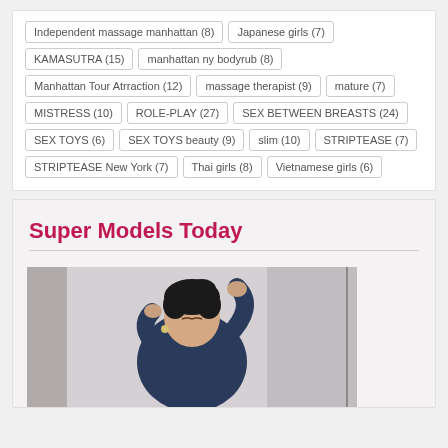Independent massage manhattan (8)
Japanese girls (7)
KAMASUTRA (15)
manhattan ny bodyrub (8)
Manhattan Tour Atrraction (12)
massage therapist (9)
mature (7)
MISTRESS (10)
ROLE-PLAY (27)
SEX BETWEEN BREASTS (24)
SEX TOYS (6)
SEX TOYS beauty (9)
slim (10)
STRIPTEASE (7)
STRIPTEASE New York (7)
Thai girls (8)
Vietnamese girls (6)
Super Models Today
[Figure (photo): Woman adjusting her hair, wearing dark clothing, indoor setting]